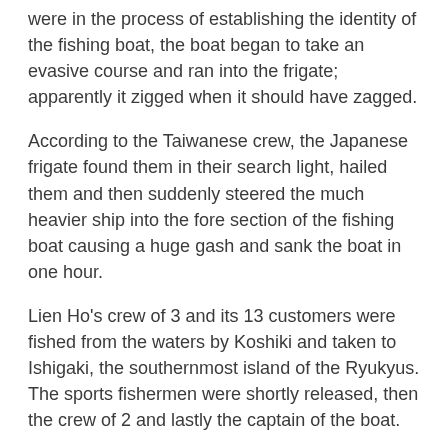were in the process of establishing the identity of the fishing boat, the boat began to take an evasive course and ran into the frigate; apparently it zigged when it should have zagged.
According to the Taiwanese crew, the Japanese frigate found them in their search light, hailed them and then suddenly steered the much heavier ship into the fore section of the fishing boat causing a huge gash and sank the boat in one hour.
Lien Ho's crew of 3 and its 13 customers were fished from the waters by Koshiki and taken to Ishigaki, the southernmost island of the Ryukyus. The sports fishermen were shortly released, then the crew of 2 and lastly the captain of the boat.
The crew upon their return asserted that their Japanese captors used harsh, sleep deprived interrogation techniques and demanded that they sign confessions in Japanese that they did not comprehend.
The captain maintained that the frigate deliberately rammed